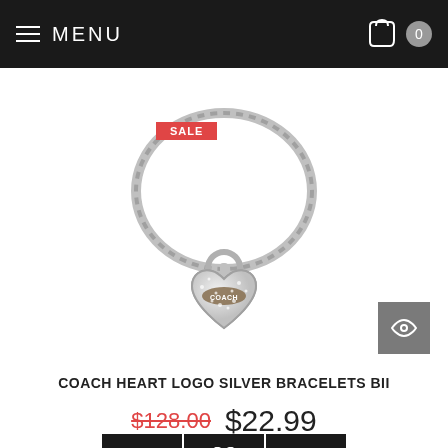MENU
[Figure (photo): Coach heart logo silver bracelet with crystal-encrusted heart charm and toggle clasp on white background]
COACH HEART LOGO SILVER BRACELETS BII
$128.00  $22.99
Write Review